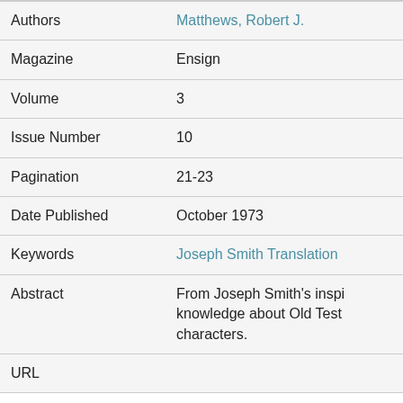| Field | Value |
| --- | --- |
| Authors | Matthews, Robert J. |
| Magazine | Ensign |
| Volume | 3 |
| Issue Number | 10 |
| Pagination | 21-23 |
| Date Published | October 1973 |
| Keywords | Joseph Smith Translation |
| Abstract | From Joseph Smith's inspi knowledge about Old Test characters. |
| URL | ... |